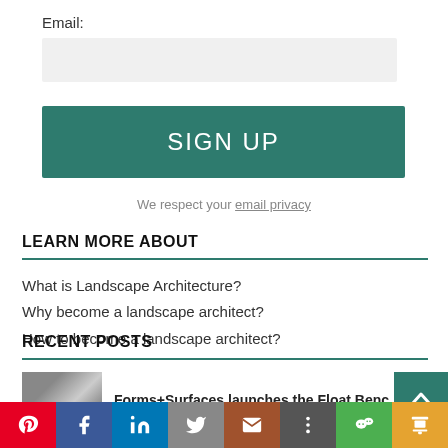Email:
[email input field]
SIGN UP
We respect your email privacy
LEARN MORE ABOUT
What is Landscape Architecture?
Why become a landscape architect?
How to become a landscape architect?
RECENT POSTS
Forms+Surfaces launches the Float Benc
[Figure (photo): Thumbnail photo of trees/landscape for recent post]